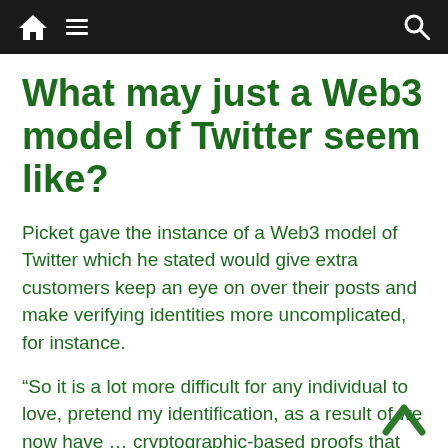Navigation bar with home, menu, and search icons
What may just a Web3 model of Twitter seem like?
Picket gave the instance of a Web3 model of Twitter which he stated would give extra customers keep an eye on over their posts and make verifying identities more uncomplicated, for instance.
“So it is a lot more difficult for any individual to love, pretend my identification, as a result of we now have … cryptographic-based proofs that I’ve performed this, and simplest I may be able to have performed this,” Picket stated.